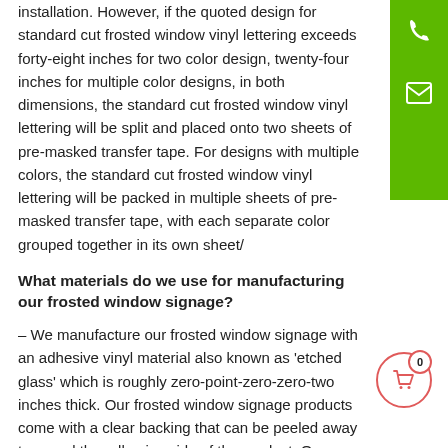installation. However, if the quoted design for standard cut frosted window vinyl lettering exceeds forty-eight inches for two color design, twenty-four inches for multiple color designs, in both dimensions, the standard cut frosted window vinyl lettering will be split and placed onto two sheets of pre-masked transfer tape. For designs with multiple colors, the standard cut frosted window vinyl lettering will be packed in multiple sheets of pre-masked transfer tape, with each separate color grouped together in its own sheet/
What materials do we use for manufacturing our frosted window signage?
– We manufacture our frosted window signage with an adhesive vinyl material also known as 'etched glass' which is roughly zero-point-zero-zero-two inches thick. Our frosted window signage products come with a clear backing that can be peeled away to reveal the adhesive side of the product. Our frosted window vinyl lettering (standard and reverse cut) also comes with a layer of pre-masked transfer tape placed over the top of the decal, ensuring a simple and easy installation.
How do colors printed onto frosted window signage products appear?